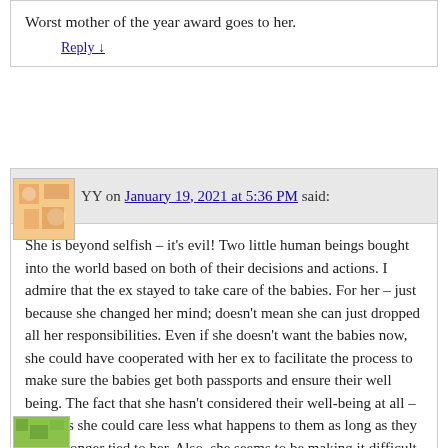Worst mother of the year award goes to her.
Reply ↓
YY on January 19, 2021 at 5:36 PM said:
She is beyond selfish – it's evil! Two little human beings bought into the world based on both of their decisions and actions. I admire that the ex stayed to take care of the babies. For her – just because she changed her mind; doesn't mean she can just dropped all her responsibilities. Even if she doesn't want the babies now, she could have cooperated with her ex to facilitate the process to make sure the babies get both passports and ensure their well being. The fact that she hasn't considered their well-being at all – it seems she could care less what happens to them as long as they are no longer tied to her. Also, she seems to be making it difficult for them to stay with her ex is just EVIL!
Reply ↓